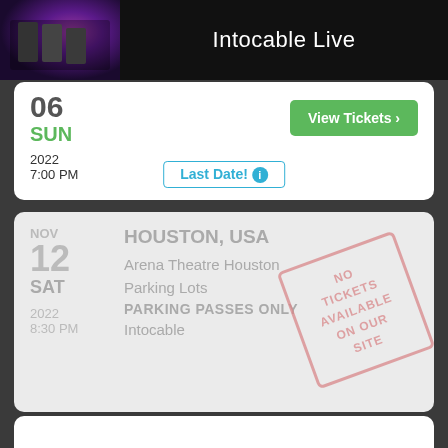Intocable Live
06 SUN 2022 7:00 PM
View Tickets
Last Date!
HOUSTON, USA Arena Theatre Houston Parking Lots PARKING PASSES ONLY Intocable NOV 12 SAT 2022 8:30 PM
NO TICKETS AVAILABLE ON OUR SITE
HOUSTON, USA Arena Theatre Intocable NOV 12 SAT
View Tickets